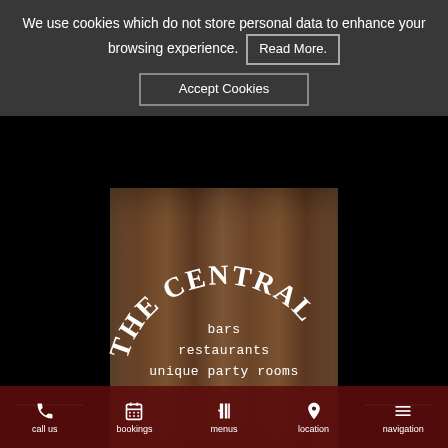We use cookies which do not store personal data to enhance your browsing experience. Read More.
Accept Cookies
[Figure (logo): The Central bar restaurant logo on wooden board background with arched text 'THE CENTRAL', below it 'bars', 'restaurants', 'unique party rooms']
bars
restaurants
unique party rooms
call us
bookings
menus
location
navigation
roof terrece